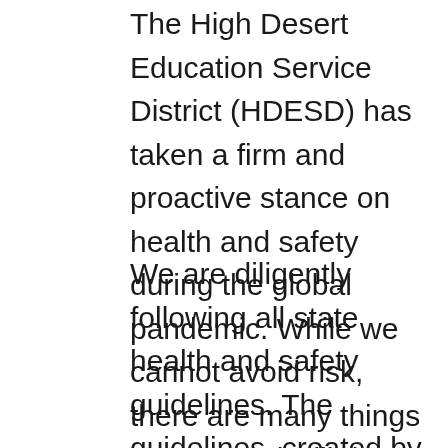The High Desert Education Service District (HDESD) has taken a firm and proactive stance on health and safety during the global pandemic. While we cannot avoid risk, there are many things we can and will do to mitigate it.
We are diligently following all state health and safety guidelines. The guidelines, created by the Oregon Health Authority (OHA), the Oregon Department of Education (ODE), the Oregon Early Learning Division (ELD) and our Local Public Health Authorities (LPHAs) include specific universal